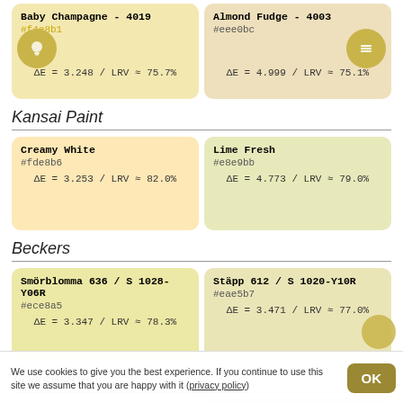Baby Champagne - 4019 / #f4e8b1 / ΔE = 3.248 / LRV ≈ 75.7%
Almond Fudge - 4003 / #eee0bc / ΔE = 4.999 / LRV ≈ 75.1%
Kansai Paint
Creamy White / #fde8b6 / ΔE = 3.253 / LRV ≈ 82.0%
Lime Fresh / #e8e9bb / ΔE = 4.773 / LRV ≈ 79.0%
Beckers
Smörblomma 636 / S 1028-Y06R / #ece8a5 / ΔE = 3.347 / LRV ≈ 78.3%
Stäpp 612 / S 1020-Y10R / #eae5b7 / ΔE = 3.471 / LRV ≈ 77.0%
Volkswagen
Light Ivory / #fbeeb9 / ΔE = 3.369 / LRV ≈ 85.2%
Blizzard White / #ede1be / ΔE = 5.112 / LRV ≈ 75.6%
We use cookies to give you the best experience. If you continue to use this site we assume that you are happy with it (privacy policy)